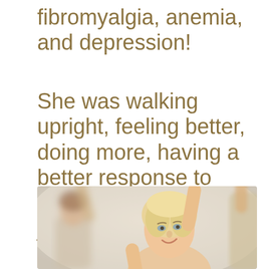fibromyalgia, anemia, and depression!
She was walking upright, feeling better, doing more, having a better response to treatments, and even joking and laughing.
[Figure (photo): Photo of an older woman with blonde hair raising her arm, smiling upward, with another person visible in the blurred background, suggesting exercise or celebration]